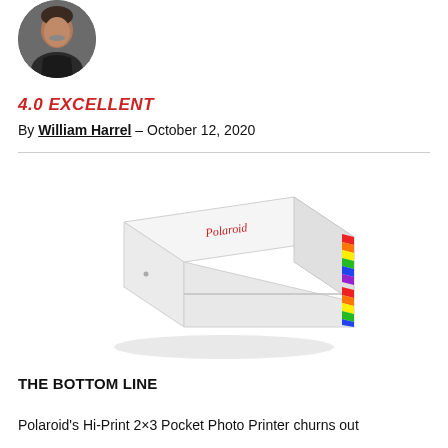[Figure (photo): Circular headshot photo of William Harrel, a man with gray hair and a mustache wearing a dark jacket]
4.0 EXCELLENT
By William Harrel – October 12, 2020
[Figure (photo): Polaroid Hi-Print 2x3 Pocket Photo Printer — white rectangular device with rainbow-colored stripe on the right side/edge, shot in 3/4 angle view on white background]
THE BOTTOM LINE
Polaroid's Hi-Print 2×3 Pocket Photo Printer churns out